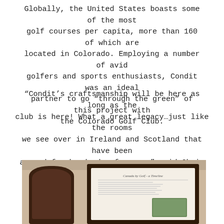Globally, the United States boasts some of the most golf courses per capita, more than 160 of which are located in Colorado. Employing a number of avid golfers and sports enthusiasts, Condit was an ideal partner to go “through the green” of this project with the Colorado Golf Club.
“Condit’s craftsmanship will be here as long as the club is here! What a great legacy…just like the rooms we see over in Ireland and Scotland that have been around for hundreds of years,” said Chris Pitaniello, Senior Board Member of the Colorado Golf Club’s Legacy Group.
[Figure (photo): Photo of two framed plaques or awards mounted on a light beige wall. On the left is a dark wood plaque with an arched top. On the right is a rectangular dark wood framed display with text and an image, partially visible at the bottom of the page.]